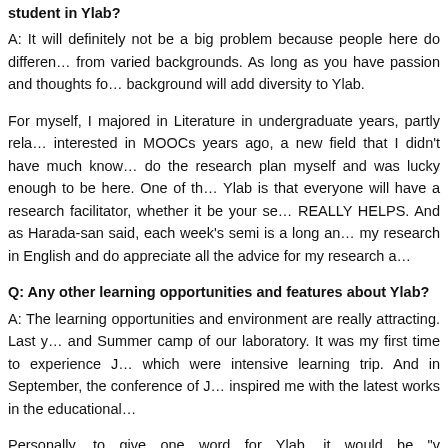student in Ylab?
A: It will definitely not be a big problem because people here do different things from varied backgrounds. As long as you have passion and thoughts for it, your background will add diversity to Ylab.
For myself, I majored in Literature in undergraduate years, partly related to being interested in MOOCs years ago, a new field that I didn't have much knowledge in. I do the research plan myself and was lucky enough to be here. One of the good things of Ylab is that everyone will have a research facilitator, whether it be your senior or staff. REALLY HELPS. And as Harada-san said, each week's semi is a long and I do conduct my research in English and do appreciate all the advice for my research a…
Q: Any other learning opportunities and features about Ylab?
A: The learning opportunities and environment are really attracting. Last y… and Summer camp of our laboratory. It was my first time to experience J… which were intensive learning trip. And in September, the conference of J… inspired me with the latest works in the educational…
Personally, to give one word for Ylab, it would be "… … ctio… and students, seniors and juniors, inside and outs… PAGE TOP stu… research and application. And right now, the blog h…
Will these words be of any help to you? And let's lo… …xt h…